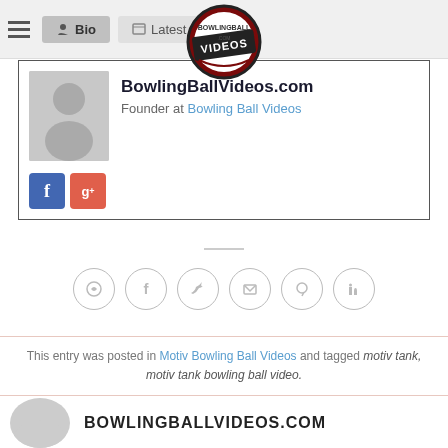[Figure (logo): BowlingBallVideos.com circular logo with dark red border and white VIDEOS text]
Bio | Latest Posts
[Figure (photo): Profile card with gray avatar placeholder for BowlingBallVideos.com, Founder at Bowling Ball Videos, with Facebook and Google+ social icons]
[Figure (infographic): Row of 6 social share icon circles: WhatsApp, Facebook, Twitter, Email, Pinterest, LinkedIn]
This entry was posted in Motiv Bowling Ball Videos and tagged motiv tank, motiv tank bowling ball video.
[Figure (photo): Bottom section showing partial gray avatar circle and BOWLINGBALLVIDEOS.COM text in bold uppercase]